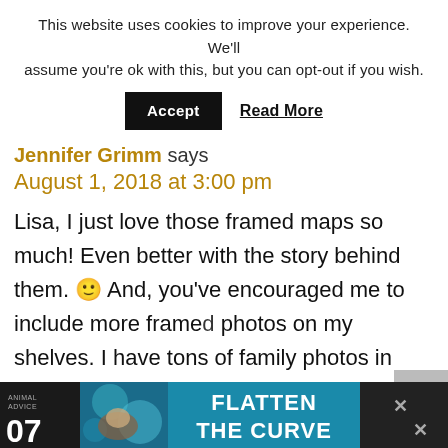This website uses cookies to improve your experience. We'll assume you're ok with this, but you can opt-out if you wish.
Accept   Read More
Jennifer Grimm says
August 1, 2018 at 3:00 pm
Lisa, I just love those framed maps so much! Even better with the story behind them. 🙂 And, you've encouraged me to include more framed photos on my shelves. I have tons of family photos in gallery walls but not
[Figure (screenshot): Advertisement banner at the bottom: Animal Advice 07 Flatten the Curve with close buttons]